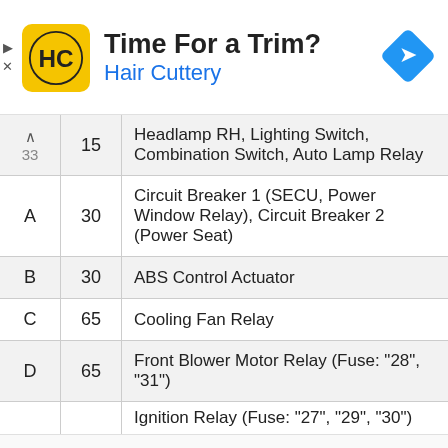[Figure (logo): Hair Cuttery advertisement banner with logo, tagline 'Time For a Trim?' and brand name 'Hair Cuttery', with a blue navigation arrow icon]
| ID | Amps | Description |
| --- | --- | --- |
| 33 (^) | 15 | Headlamp RH, Lighting Switch, Combination Switch, Auto Lamp Relay |
| A | 30 | Circuit Breaker 1 (SECU, Power Window Relay), Circuit Breaker 2 (Power Seat) |
| B | 30 | ABS Control Actuator |
| C | 65 | Cooling Fan Relay |
| D | 65 | Front Blower Motor Relay (Fuse: "28", "31") |
|  |  | Ignition Relay (Fuse: "27", "29", "30") |
This website uses cookies to improve your experience. We'll assume you're ok with this, but you can opt-out if you wish.
Cookie settings   ACCEPT